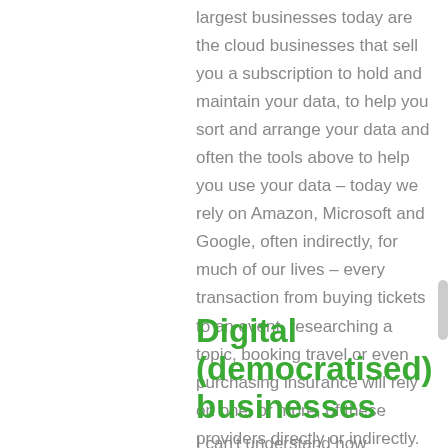largest businesses today are the cloud businesses that sell you a subscription to hold and maintain your data, to help you sort and arrange your data and often the tools above to help you use your data – today we rely on Amazon, Microsoft and Google, often indirectly, for much of our lives – every transaction from buying tickets to an event, researching a topic, booking travel or even purchasing insurance will rely on one, or more, of these providers directly or indirectly. Often, they will use a service that uses a service that is based on one of these environments.
Digital (democratised) businesses
I can't understand how businesses that don't...